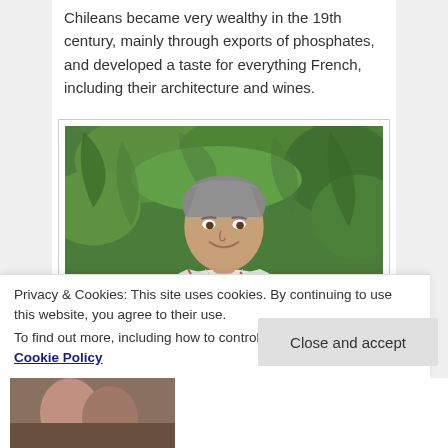Chileans became very wealthy in the 19th century, mainly through exports of phosphates, and developed a taste for everything French, including their architecture and wines.
[Figure (photo): A middle-aged man with grey hair, smiling, wearing a floral Hawaiian shirt, seated outdoors in front of green foliage/trees.]
Privacy & Cookies: This site uses cookies. By continuing to use this website, you agree to their use.
To find out more, including how to control cookies, see here: Cookie Policy
[Figure (photo): Partial view of another photo at the bottom of the page, partially obscured by the cookie banner.]